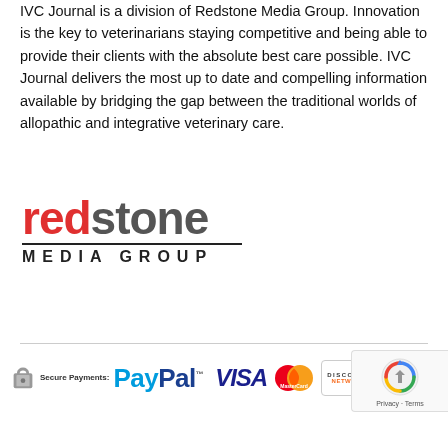IVC Journal is a division of Redstone Media Group. Innovation is the key to veterinarians staying competitive and being able to provide their clients with the absolute best care possible. IVC Journal delivers the most up to date and compelling information available by bridging the gap between the traditional worlds of allopathic and integrative veterinary care.
[Figure (logo): Redstone Media Group logo with 'redstone' in large teal/gray text and 'MEDIA GROUP' below in spaced capitals]
[Figure (infographic): Secure Payments row showing PayPal, VISA, MasterCard, Discover, and Stripe logos with a lock icon]
[Figure (logo): reCAPTCHA badge with Google reCAPTCHA logo and Privacy · Terms links]